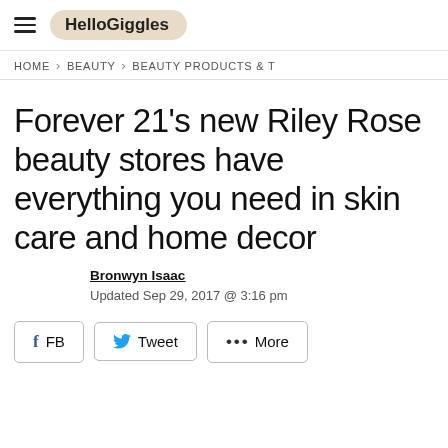HelloGiggles
HOME > BEAUTY > BEAUTY PRODUCTS & T
Forever 21’s new Riley Rose beauty stores have everything you need in skin care and home decor
Bronwyn Isaac
Updated Sep 29, 2017 @ 3:16 pm
f FB   Tweet   ••• More